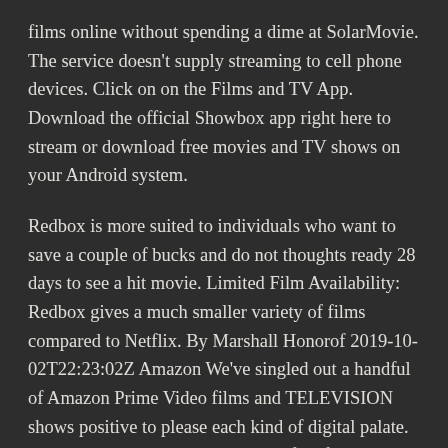films online without spending a dime at SolarMovie. The service doesn't supply streaming to cell phone devices. Click on on the Films and TV App. Download the official Showbox app right here to stream or download free movies and TV shows on your Android system.
Redbox is more suited to individuals who want to save a couple of bucks and do not thoughts ready 28 days to see a hit movie. Limited Film Availability: Redbox gives a much smaller variety of films compared to Netflix. By Marshall Honorof 2019-10-02T22:23:02Z Amazon We've singled out a handful of Amazon Prime Video films and TELEVISION shows positive to please each kind of digital palate. Whereas Bearded Collies are identified for his or her roles as present and dealing canines, the breed has also been seen in tv, films and catalogs. Extra Machine Required: You'll have to spend money on a device to stream Amazon On Demand motion pictures to your television. We let you watch motion